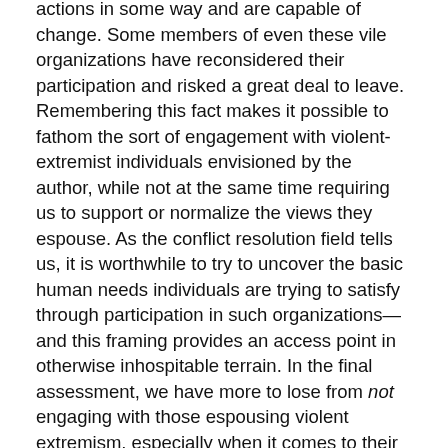actions in some way and are capable of change. Some members of even these vile organizations have reconsidered their participation and risked a great deal to leave. Remembering this fact makes it possible to fathom the sort of engagement with violent-extremist individuals envisioned by the author, while not at the same time requiring us to support or normalize the views they espouse. As the conflict resolution field tells us, it is worthwhile to try to uncover the basic human needs individuals are trying to satisfy through participation in such organizations—and this framing provides an access point in otherwise inhospitable terrain. In the final assessment, we have more to lose from not engaging with those espousing violent extremism, especially when it comes to their willingness to turn to violence.
Practical Implications